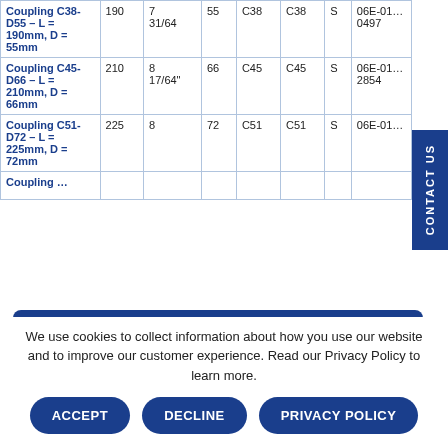| Product | L (mm) | Threads per inch | D (mm) | ID | OD | Type | Part No. |
| --- | --- | --- | --- | --- | --- | --- | --- |
| Coupling C38-D55 - L = 190mm, D = 55mm | 190 | 7 31/64 | 55 | C38 | C38 | S | 06E-01... 0497 |
| Coupling C45-D66 - L = 210mm, D = 66mm | 210 | 8 17/64" | 66 | C45 | C45 | S | 06E-01... 2854 |
| Coupling C51-D72 - L = 225mm, D = 72mm | 225 | 8 | 72 | C51 | C51 | S | 06E-01... |
| Coupling ... |  |  |  |  |  |  |  |
[Figure (screenshot): Chat modal overlay with Robit logo and 'Welcome to our website! How can we...' message]
We use cookies to collect information about how you use our website and to improve our customer experience. Read our Privacy Policy to learn more.